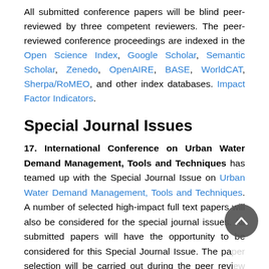All submitted conference papers will be blind peer-reviewed by three competent reviewers. The peer-reviewed conference proceedings are indexed in the Open Science Index, Google Scholar, Semantic Scholar, Zenedo, OpenAIRE, BASE, WorldCAT, Sherpa/RoMEO, and other index databases. Impact Factor Indicators.
Special Journal Issues
17. International Conference on Urban Water Demand Management, Tools and Techniques has teamed up with the Special Journal Issue on Urban Water Demand Management, Tools and Techniques. A number of selected high-impact full text papers will also be considered for the special journal issues. All submitted papers will have the opportunity to be considered for this Special Journal Issue. The paper selection will be carried out during the peer review process as well as at the conference presentation stage.